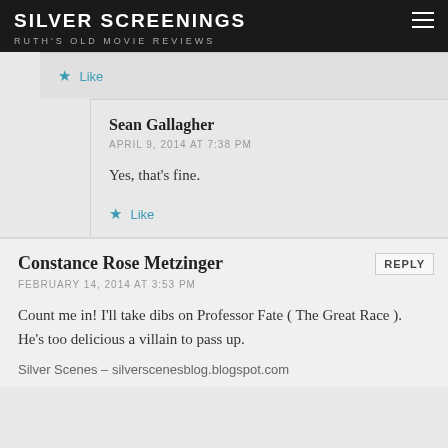SILVER SCREENINGS
RUTH'S OLD MOVIE REVIEWS
Like
Sean Gallagher
APRIL 9, 2014 AT 7:38 PM
Yes, that's fine.
Like
Constance Rose Metzinger
FEBRUARY 14, 2014 AT 3:53 PM
Count me in! I'll take dibs on Professor Fate ( The Great Race ). He's too delicious a villain to pass up.
Silver Scenes – silverscenesblog.blogspot.com